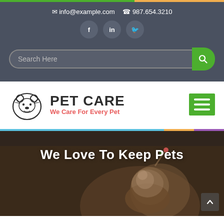✉ info@example.com  ☎ 987.654.3210
[Figure (other): Social media icons: Facebook, LinkedIn, Twitter in dark circular buttons]
[Figure (other): Search bar with rounded input field and green search button]
[Figure (logo): Pet Care logo with dog face illustration. Text: PET CARE, We Care For Every Pet]
[Figure (other): Green hamburger menu button with three white horizontal lines]
We Love To Keep Pets
[Figure (photo): Hero image of a kitten playing with a toy wand on a dark background]